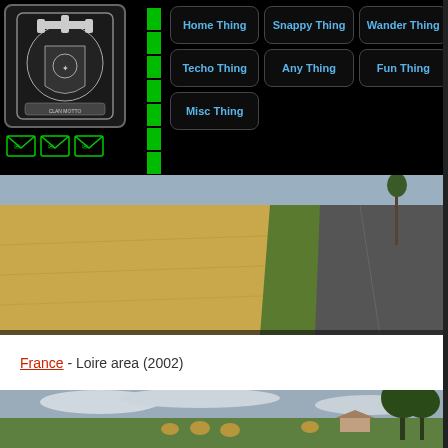[Figure (screenshot): Website navigation bar with dark background, clan crest logo, green signal bars, and navigation buttons: Home Thing, Snappy Thing, Wander Thing, Techo Thing, Any Thing, Fun Thing, Misc Thing. Email icons below logo.]
[Figure (photo): Wheat/grain field beside a rural road in France, Loire area, 2002. Golden crops on the left, tarmac road on the right with green verge.]
France - Loire area (2002)
[Figure (photo): Green meadow with hay bales, overcast sky, trees in background, Loire area France 2002.]